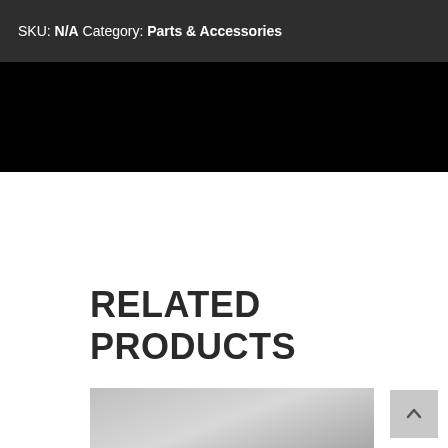SKU: N/A Category: Parts & Accessories
[Figure (other): Black band / image area placeholder]
RELATED PRODUCTS
[Figure (photo): Product image placeholder (grey gradient)]
[Figure (other): Back to top arrow button]